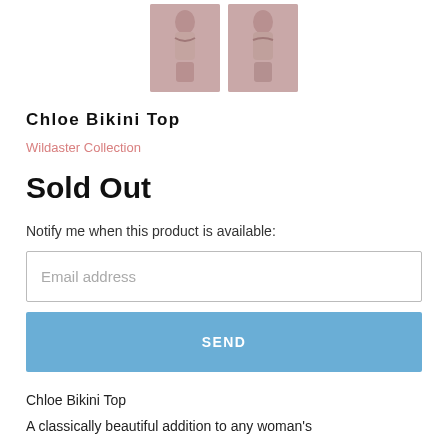[Figure (photo): Two small thumbnail images of a model wearing a mauve/pink bikini top, shown front and back views]
Chloe Bikini Top
Wildaster Collection
Sold Out
Notify me when this product is available:
[Figure (screenshot): Email address input field with placeholder text 'Email address']
[Figure (screenshot): Blue SEND button]
Chloe Bikini Top
A classically beautiful addition to any woman's